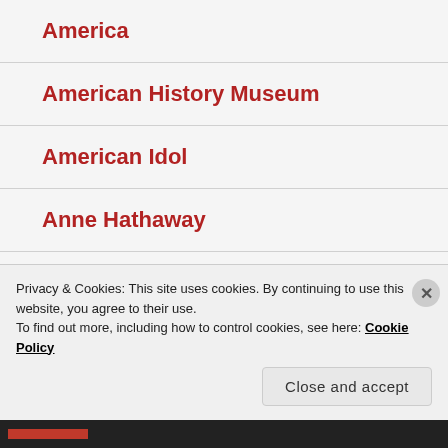America
American History Museum
American Idol
Anne Hathaway
Anti-Social Network
Apocalyptica
Privacy & Cookies: This site uses cookies. By continuing to use this website, you agree to their use.
To find out more, including how to control cookies, see here: Cookie Policy
Close and accept